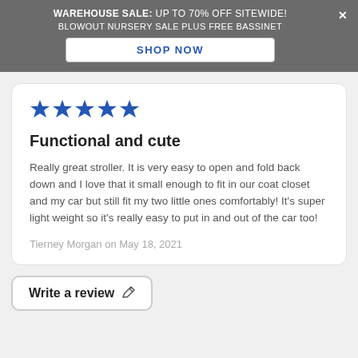WAREHOUSE SALE: UP TO 70% OFF SITEWIDE! BLOWOUT NURSERY SALE PLUS FREE BASSINET
SHOP NOW
[Figure (other): Five blue star rating icons]
Functional and cute
Really great stroller. It is very easy to open and fold back down and I love that it small enough to fit in our coat closet and my car but still fit my two little ones comfortably! It's super light weight so it's really easy to put in and out of the car too!
Tierney Morgan on May 18, 2021
Write a review